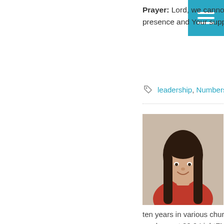Prayer: Lord, we cannot do life on our own. Remind us of Your presence and Your support. Amen.
leadership, Numbers, support
[Figure (photo): Portrait photo of a smiling woman with long dark hair wearing a red top]
This article was written by Linda Bailey
Linda started theological studies in 1999 in Australia. After working for ten years in various church ministries, she now works as the breakfast producer at 89.9 LightFM - the Christian radio station in Melbourne, Australia. She writes blogs every day about passages she is currently reading in the Bible. Follow her on Google Plus +Linda Bailey or Facebook by clicking the like button on